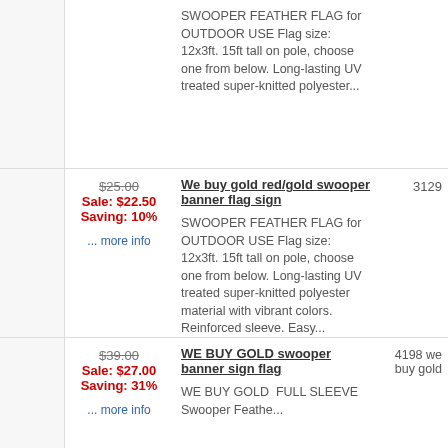SWOOPER FEATHER FLAG for OUTDOOR USE Flag size: 12x3ft. 15ft tall on pole, choose one from below. Long-lasting UV treated super-knitted polyester...
$25.00
Sale: $22.50
Saving: 10%
... more info
3129
We buy gold red/gold swooper banner flag sign
SWOOPER FEATHER FLAG for OUTDOOR USE Flag size: 12x3ft. 15ft tall on pole, choose one from below. Long-lasting UV treated super-knitted polyester material with vibrant colors. Reinforced sleeve. Easy...
$39.00
Sale: $27.00
Saving: 31%
... more info
4198 we buy gold
WE BUY GOLD swooper banner sign flag
WE BUY GOLD  FULL SLEEVE Swooper Feathe...